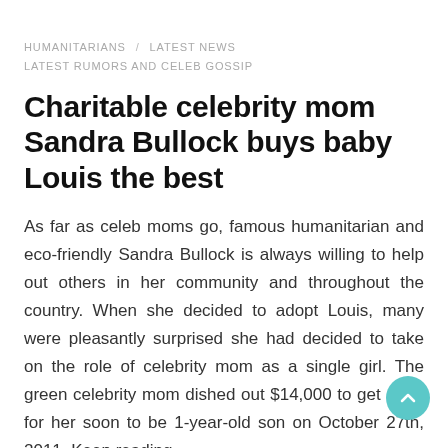HUMANITARIANS / LATEST NEWS
LATEST RUMORS AND CELEB GOSSIP
Charitable celebrity mom Sandra Bullock buys baby Louis the best
As far as celeb moms go, famous humanitarian and eco-friendly Sandra Bullock is always willing to help out others in her community and throughout the country. When she decided to adopt Louis, many were pleasantly surprised she had decided to take on the role of celebrity mom as a single girl. The green celebrity mom dished out $14,000 to get a gift for her soon to be 1-year-old son on October 27th, 2011. Keep reading...